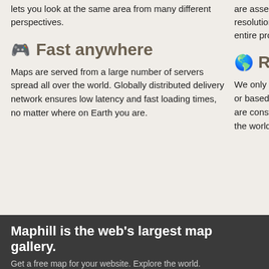lets you look at the same area from many different perspectives.
Fast anywhere
Maps are served from a large number of servers spread all over the world. Globally distributed delivery network ensures low latency and fast loading times, no matter where on Earth you are.
are assembled an... resolution vector... entire process of t...
Real Eart...
We only use data... or based on bathy... are constructed fr... the world looks lik...
Maphill is the web's largest map gallery.
Get a free map for your website. Explore the world. Discover the largest hidden in the...